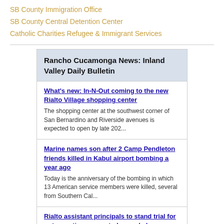SB County Immigration Office
SB County Central Detention Center
Catholic Charities Refugee & Immigrant Services
Rancho Cucamonga News: Inland Valley Daily Bulletin
What's new: In-N-Out coming to the new Rialto Village shopping center
The shopping center at the southwest corner of San Bernardino and Riverside avenues is expected to open by late 202...
Marine names son after 2 Camp Pendleton friends killed in Kabul airport bombing a year ago
Today is the anniversary of the bombing in which 13 American service members were killed, several from Southern Cal...
Rialto assistant principals to stand trial for not reporting suspected sexual abuse
Defense attorneys blast prosecution's case, claiming the reputations and careers of dedicated educators are being d...